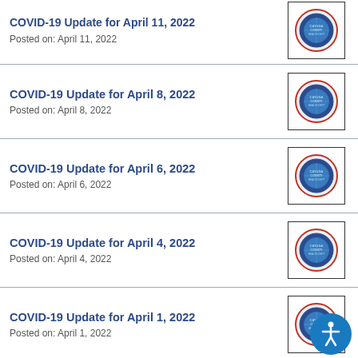COVID-19 Update for April 8, 2022
Posted on: April 8, 2022
COVID-19 Update for April 6, 2022
Posted on: April 6, 2022
COVID-19 Update for April 4, 2022
Posted on: April 4, 2022
COVID-19 Update for April 1, 2022
Posted on: April 1, 2022
High Transmission Levels of COVID-19 in Cayuga County